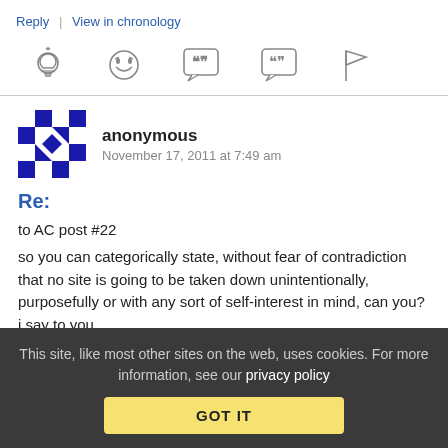Reply | View in chronology
[Figure (other): Icon bar with five icons: lightbulb, laughing emoji face, speech bubble with quote marks, speech bubble with double quote, and flag]
anonymous   November 17, 2011 at 7:49 am
Re:
to AC post #22
so you can categorically state, without fear of contradiction that no site is going to be taken down unintentionally, purposefully or with any sort of self-interest in mind, can you? i say to you
This site, like most other sites on the web, uses cookies. For more information, see our privacy policy
GOT IT